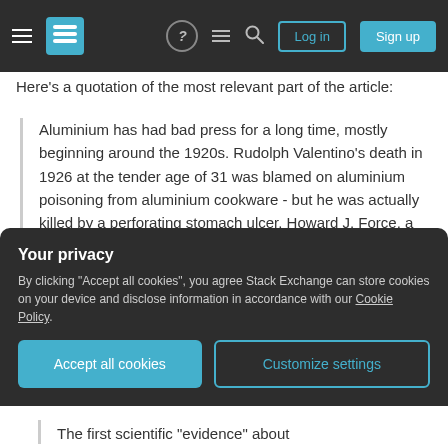Stack Exchange navigation bar with Log in and Sign up buttons
Here's a quotation of the most relevant part of the article:
Aluminium has had bad press for a long time, mostly beginning around the 1920s. Rudolph Valentino's death in 1926 at the tender age of 31 was blamed on aluminium poisoning from aluminium cookware - but he was actually killed by a perforating stomach ulcer. Howard J. Force, a self-proclaimed "chemist" added momentum to
Your privacy
By clicking "Accept all cookies", you agree Stack Exchange can store cookies on your device and disclose information in accordance with our Cookie Policy.
The first scientific "evidence" about